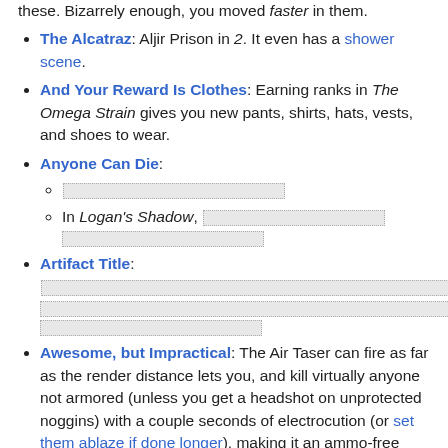these. Bizarrely enough, you moved faster in them.
The Alcatraz: Aljir Prison in 2. It even has a shower scene.
And Your Reward Is Clothes: Earning ranks in The Omega Strain gives you new pants, shirts, hats, vests, and shoes to wear.
Anyone Can Die: [redacted sub-items]
Artifact Title: [redacted]
Awesome, but Impractical: The Air Taser can fire as far as the render distance lets you, and kill virtually anyone not armored (unless you get a headshot on unprotected noggins) with a couple seconds of electrocution (or set them ablaze if done longer), making it an ammo-free way of wiping enemies off the grid. It also completely leaves